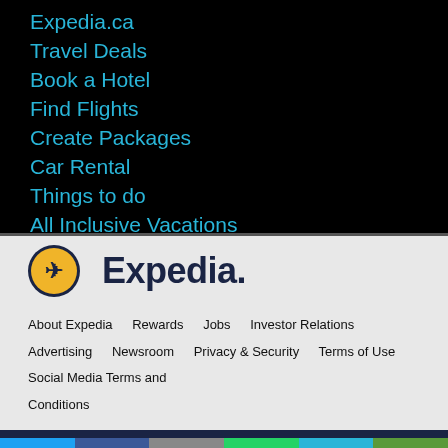Expedia.ca
Travel Deals
Book a Hotel
Find Flights
Create Packages
Car Rental
Things to do
All Inclusive Vacations
[Figure (logo): Expedia logo with airplane icon in yellow circle and Expedia text in dark navy]
About Expedia    Rewards    Jobs    Investor Relations    Advertising    Newsroom    Privacy & Security    Terms of Use    Social Media Terms and Conditions
[Figure (infographic): Social media share bar with Twitter, Facebook, Email, WhatsApp, SMS, and More buttons]